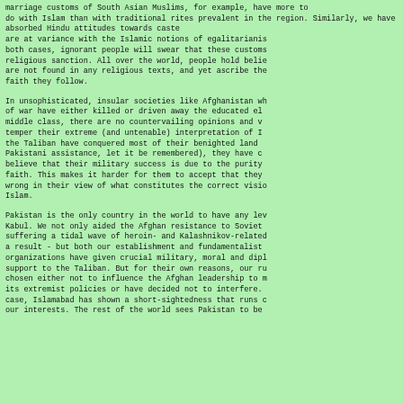marriage customs of South Asian Muslims, for example, have more to do with Islam than with traditional rites prevalent in the region. Similarly, we have absorbed Hindu attitudes towards caste which are at variance with the Islamic notions of egalitarianism. In both cases, ignorant people will swear that these customs have religious sanction. All over the world, people hold beliefs that are not found in any religious texts, and yet ascribe them to the faith they follow.

In unsophisticated, insular societies like Afghanistan where years of war have either killed or driven away the educated elite and middle class, there are no countervailing opinions and voices to temper their extreme (and untenable) interpretation of Islam. As the Taliban have conquered most of their benighted land (with Pakistani assistance, let it be remembered), they have come to believe that their military success is due to the purity of their faith. This makes it harder for them to accept that they might be wrong in their view of what constitutes the correct vision of Islam.

Pakistan is the only country in the world to have any leverage in Kabul. We not only aided the Afghan resistance to Soviet occupation, suffering a tidal wave of heroin- and Kalashnikov-related problems as a result - but both our establishment and fundamentalist organizations have given crucial military, moral and diplomatic support to the Taliban. But for their own reasons, our rulers have chosen either not to influence the Afghan leadership to moderate its extremist policies or have decided not to interfere. In either case, Islamabad has shown a short-sightedness that runs counter to our interests. The rest of the world sees Pakistan to be